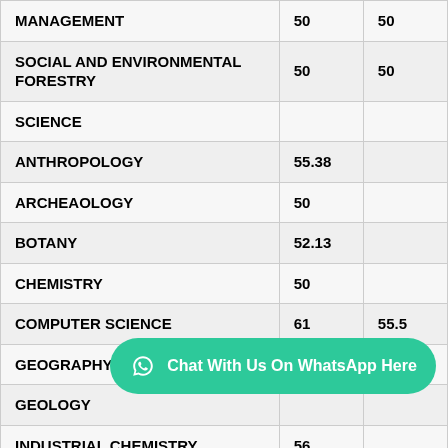| Subject | Val1 | Val2 |
| --- | --- | --- |
| MANAGEMENT | 50 | 50 |
| SOCIAL AND ENVIRONMENTAL FORESTRY | 50 | 50 |
| SCIENCE |  |  |
| ANTHROPOLOGY | 55.38 |  |
| ARCHEAOLOGY | 50 |  |
| BOTANY | 52.13 |  |
| CHEMISTRY | 50 |  |
| COMPUTER SCIENCE | 61 | 55.5 |
| GEOGRAPHY | 51.75 |  |
| GEOLOGY |  |  |
| INDUSTRIAL CHEMISTRY | 56 |  |